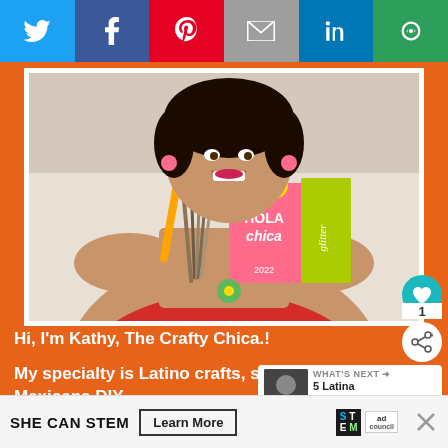[Figure (screenshot): Social media share buttons bar: Twitter (blue), Facebook (dark blue), Pinterest (red), Email (gray), LinkedIn (blue), Other/Share (green)]
[Figure (photo): Woman smiling holding craft supplies including paint brushes, scissors, a 'Hola Chica 2022' notebook/planner, and a yellow glitter book. She is wearing a red floral off-shoulder top with a green daisy flower accessory.]
Hi, I'm Kathy, The Crafty Chica.!
My specialty is Latino crafts, specifically Mexicana DIY.
[Figure (screenshot): What's Next widget showing thumbnail image and text '5 Latina Singers on t...']
From Day of the Dead crafts to Frida pop art to
[Figure (screenshot): Advertisement banner: SHE CAN STEM with Learn More button, STEM logo, Ad Council logo]